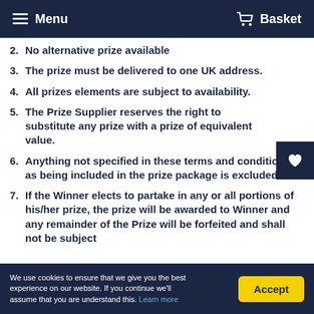Menu  Basket
2. No alternative prize available
3. The prize must be delivered to one UK address.
4. All prizes elements are subject to availability.
5. The Prize Supplier reserves the right to substitute any prize with a prize of equivalent value.
6. Anything not specified in these terms and conditions as being included in the prize package is excluded.
7. If the Winner elects to partake in any or all portions of his/her prize, the prize will be awarded to Winner and any remainder of the Prize will be forfeited and shall not be subject
We use cookies to ensure that we give you the best experience on our website. If you continue we'll assume that you are understand this. Learn more